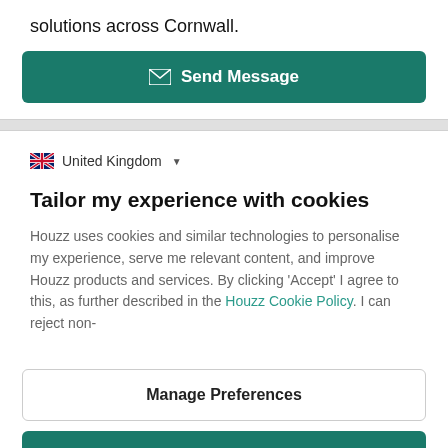solutions across Cornwall.
Send Message
United Kingdom
Tailor my experience with cookies
Houzz uses cookies and similar technologies to personalise my experience, serve me relevant content, and improve Houzz products and services. By clicking 'Accept' I agree to this, as further described in the Houzz Cookie Policy. I can reject non-
Manage Preferences
Accept